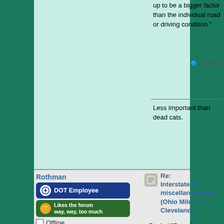up to be a bigger factor than the individual road or driving condition."
Logged
Less important than dead cats.
Rothman
[Figure (other): DOT Employee badge - blue rounded rectangle with recycling logo and text 'DOT Employee']
[Figure (other): Green badge reading 'Likes the forum way, way, too much' with smiley face icon]
Offline
Posts: 10632
[Figure (other): Interstate highway shield for New York route 587 - blue and red shield shape with 'INTERSTATE' banner, 'NEW YORK' text, and number 587]
Last Login: August 23, 2022, 10:40:26 PM
Re: Interstate 71 miscellany thread (Ohio Mile 61 to Cleveland)
« Reply #27 on: September 28, 2021, 06:35:55 AM »
Stats weren't normalized to account for VMT or volume. Without normalization,